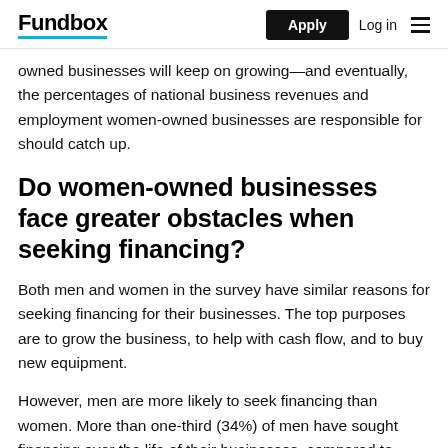Fundbox | Apply | Log in
owned businesses will keep on growing—and eventually, the percentages of national business revenues and employment women-owned businesses are responsible for should catch up.
Do women-owned businesses face greater obstacles when seeking financing?
Both men and women in the survey have similar reasons for seeking financing for their businesses. The top purposes are to grow the business, to help with cash flow, and to buy new equipment.
However, men are more likely to seek financing than women. More than one-third (34%) of men have sought financing over the life of their businesses, compared to